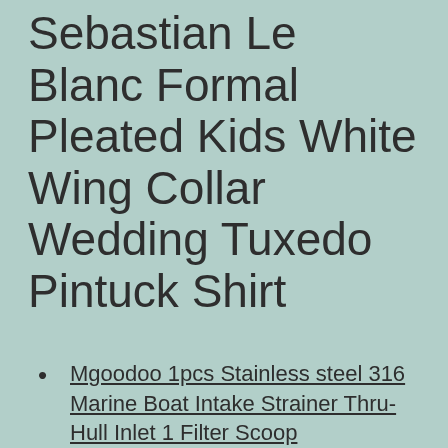Sebastian Le Blanc Formal Pleated Kids White Wing Collar Wedding Tuxedo Pintuck Shirt
Mgoodoo 1pcs Stainless steel 316 Marine Boat Intake Strainer Thru-Hull Inlet 1 Filter Scoop
AJFIEF Egg Seperator Tools Portable Egg Yolk White Separator Plastic Egg